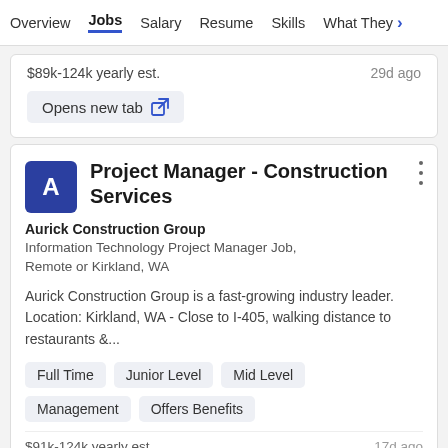Overview  Jobs  Salary  Resume  Skills  What They >
$89k-124k yearly est.    29d ago
Opens new tab
Project Manager - Construction Services
Aurick Construction Group
Information Technology Project Manager Job, Remote or Kirkland, WA
Aurick Construction Group is a fast-growing industry leader. Location: Kirkland, WA - Close to I-405, walking distance to restaurants &...
Full Time
Junior Level
Mid Level
Management
Offers Benefits
$91k-124k yearly est.    17d ago